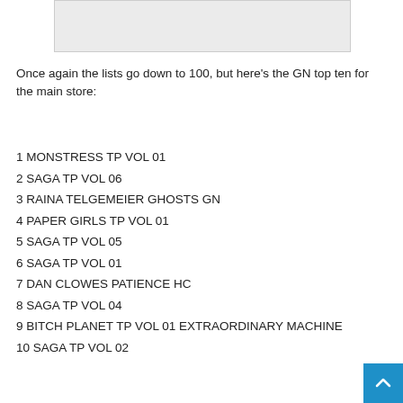[Figure (other): Gray placeholder box at top of page]
Once again the lists go down to 100, but here's the GN top ten for the main store:
1 MONSTRESS TP VOL 01
2 SAGA TP VOL 06
3 RAINA TELGEMEIER GHOSTS GN
4 PAPER GIRLS TP VOL 01
5 SAGA TP VOL 05
6 SAGA TP VOL 01
7 DAN CLOWES PATIENCE HC
8 SAGA TP VOL 04
9 BITCH PLANET TP VOL 01 EXTRAORDINARY MACHINE
10 SAGA TP VOL 02